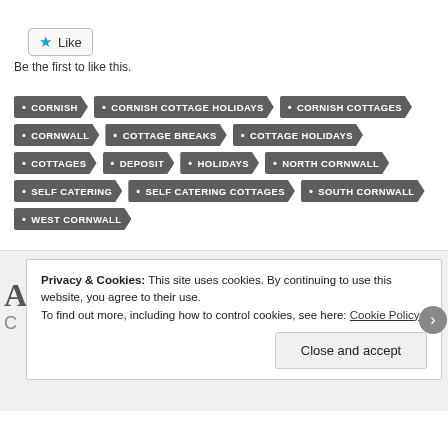[Figure (other): Like button widget with blue star icon and 'Like' text in a rounded rectangle border]
Be the first to like this.
• CORNISH
• CORNISH COTTAGE HOLIDAYS
• CORNISH COTTAGES
• CORNWALL
• COTTAGE BREAKS
• COTTAGE HOLIDAYS
• COTTAGES
• DEPOSIT
• HOLIDAYS
• NORTH CORNWALL
• SELF CATERING
• SELF CATERING COTTAGES
• SOUTH CORNWALL
• WEST CORNWALL
Privacy & Cookies: This site uses cookies. By continuing to use this website, you agree to their use. To find out more, including how to control cookies, see here: Cookie Policy
Close and accept